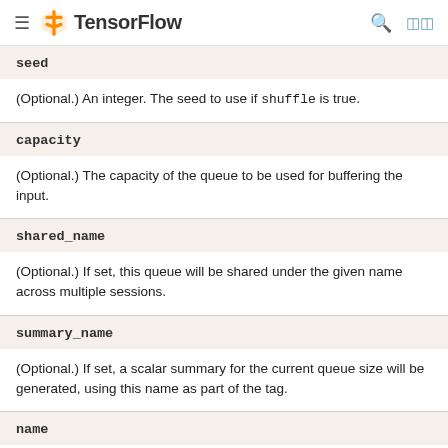TensorFlow
seed
(Optional.) An integer. The seed to use if shuffle is true.
capacity
(Optional.) The capacity of the queue to be used for buffering the input.
shared_name
(Optional.) If set, this queue will be shared under the given name across multiple sessions.
summary_name
(Optional.) If set, a scalar summary for the current queue size will be generated, using this name as part of the tag.
name
(Optional.) A name for queue.